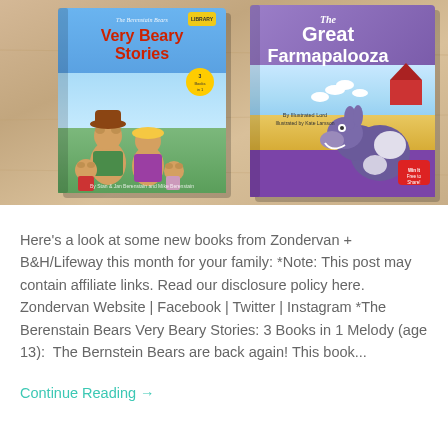[Figure (photo): Two children's books photographed on a wooden table surface. Left book: 'The Berenstain Bears Very Beary Stories: 3 Books in 1' with blue cover showing bear family characters. Right book: 'The Great Farmapalooza' with purple cover showing a donkey and farm animals.]
Here's a look at some new books from Zondervan + B&H/Lifeway this month for your family: *Note: This post may contain affiliate links. Read our disclosure policy here. Zondervan Website | Facebook | Twitter | Instagram *The Berenstain Bears Very Beary Stories: 3 Books in 1 Melody (age 13):  The Bernstein Bears are back again! This book...
Continue Reading →